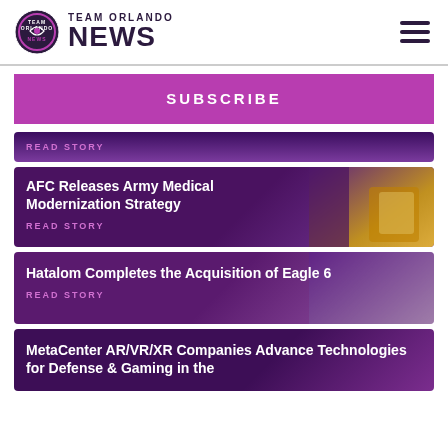TEAM ORLANDO NEWS
SUBSCRIBE
READ STORY
AFC Releases Army Medical Modernization Strategy
READ STORY
Hatalom Completes the Acquisition of Eagle 6
READ STORY
MetaCenter AR/VR/XR Companies Advance Technologies for Defense & Gaming in the